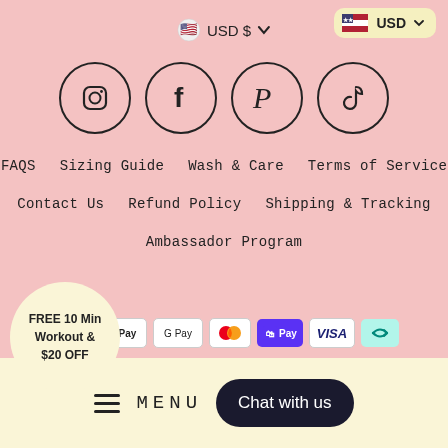🇺🇸 USD $ ∨
🇺🇸 USD ▼
[Figure (illustration): Four social media icons in circles: Instagram, Facebook, Pinterest, TikTok]
FAQS
Sizing Guide
Wash & Care
Terms of Service
Contact Us
Refund Policy
Shipping & Tracking
Ambassador Program
FREE 10 Min Workout & $20 OFF
[Figure (illustration): Payment method icons: American Express, Apple Pay, Google Pay, Mastercard, Shop Pay, Visa, afterpay/return]
© 2022 DrFit
≡ MENU  Chat with us